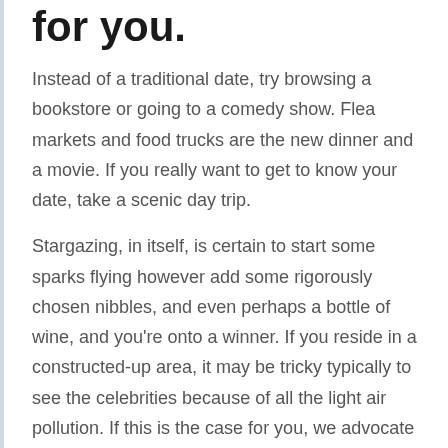for you.
Instead of a traditional date, try browsing a bookstore or going to a comedy show. Flea markets and food trucks are the new dinner and a movie. If you really want to get to know your date, take a scenic day trip.
Stargazing, in itself, is certain to start some sparks flying however add some rigorously chosen nibbles, and even perhaps a bottle of wine, and you're onto a winner. If you reside in a constructed-up area, it may be tricky typically to see the celebrities because of all the light air pollution. If this is the case for you, we advocate heading to a rooftop and taking within the views from up there. Cities at evening can truly be one thing to behold.
Subscribe To E-mail Updates
Is there a talent you each want to brush up on? Learning something new together is a great way to bond. Try a